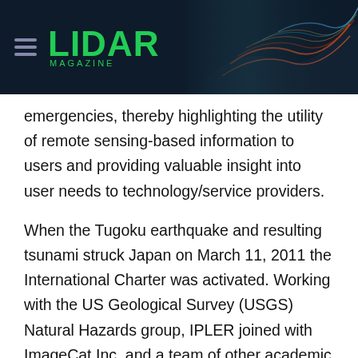LIDAR MAGAZINE
emergencies, thereby highlighting the utility of remote sensing-based information to users and providing valuable insight into user needs to technology/service providers.
When the Tugoku earthquake and resulting tsunami struck Japan on March 11, 2011 the International Charter was activated. Working with the US Geological Survey (USGS) Natural Hazards group, IPLER joined with ImageCat Inc. and a team of other academic institutions to provide map products derived from commercial satellite imagery to emergency managers in Japan. Specifically, IPLER produced maps for the hard hit